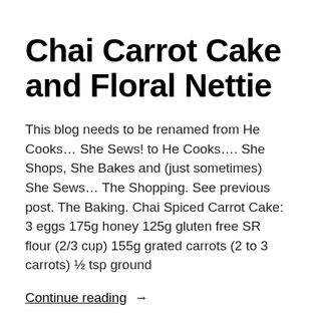Chai Carrot Cake and Floral Nettie
This blog needs to be renamed from He Cooks… She Sews! to He Cooks…. She Shops, She Bakes and (just sometimes) She Sews… The Shopping. See previous post. The Baking. Chai Spiced Carrot Cake: 3 eggs 175g honey 125g gluten free SR flour (2/3 cup) 155g grated carrots (2 to 3 carrots) ½ tsp ground
Continue reading  →
• SewingElle   🕐 July 7, 2014